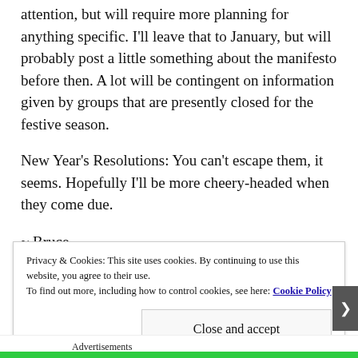attention, but will require more planning for anything specific. I'll leave that to January, but will probably post a little something about the manifesto before then. A lot will be contingent on information given by groups that are presently closed for the festive season.
New Year's Resolutions: You can't escape them, it seems. Hopefully I'll be more cheery-headed when they come due.
~ Bruce
Privacy & Cookies: This site uses cookies. By continuing to use this website, you agree to their use. To find out more, including how to control cookies, see here: Cookie Policy
Close and accept
Advertisements